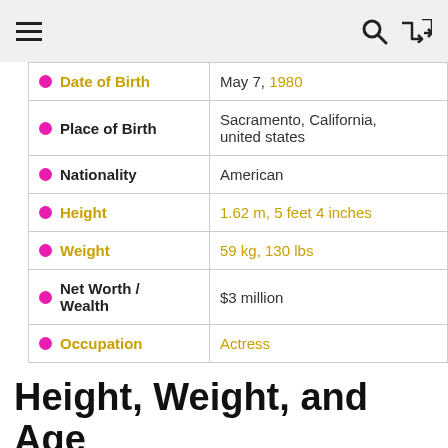≡  🔍  ⇌
| Field | Value |
| --- | --- |
| Date of Birth | May 7, 1980 |
| Place of Birth | Sacramento, California, united states |
| Nationality | American |
| Height | 1.62 m, 5 feet 4 inches |
| Weight | 59 kg, 130 lbs |
| Net Worth / Wealth | $3 million |
| Occupation | Actress |
Height, Weight, and Age